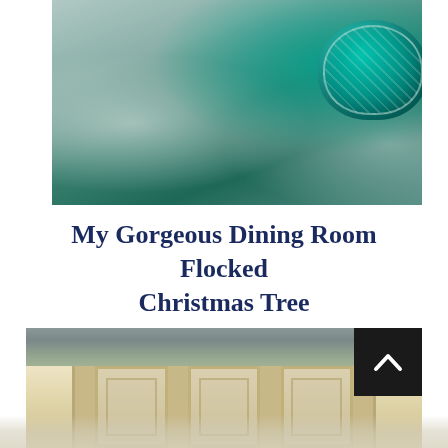[Figure (photo): Close-up photo of a flocked Christmas tree with white snow-like flocking, silver/white decorative picks, and a teal/turquoise ornament with cream lace trim detail]
My Gorgeous Dining Room Flocked Christmas Tree
[Figure (photo): Photo of a dining room hutch/cabinet with cream/white painted wood frame and glass panels, showing the interior of a dining room with holiday decorations. A black scroll-to-top button with a white chevron arrow is overlaid in the upper right corner.]